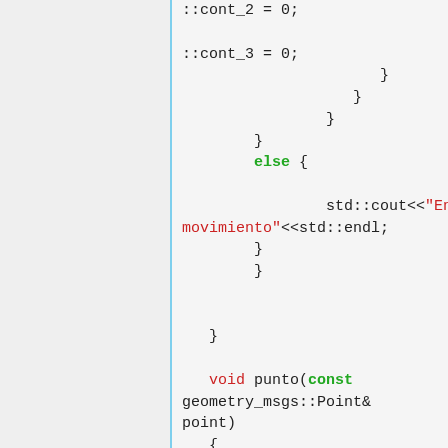::cont_1 = 0;
::cont_2 = 0;
::cont_3 = 0;
}
}
}
}
else {
std::cout<<"En movimiento"<<std::endl;
}
}

}

void punto(const geometry_msgs::Point& point)
{